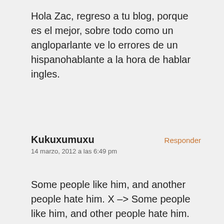Hola Zac, regreso a tu blog, porque es el mejor, sobre todo como un angloparlante ve lo errores de un hispanohablante a la hora de hablar ingles.
Kukuxumuxu
14 marzo, 2012 a las 6:49 pm
Responder
Some people like him, and another people hate him. X –> Some people like him, and other people hate him.